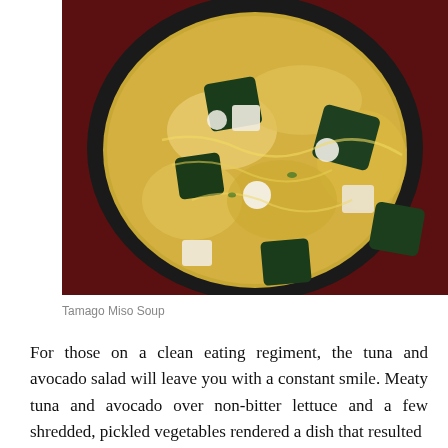[Figure (photo): Overhead view of a black bowl containing Tamago Miso Soup with pieces of dark green seaweed (wakame), white tofu, egg strands, and yellow-golden broth, photographed from above on a dark red background.]
Tamago Miso Soup
For those on a clean eating regiment, the tuna and avocado salad will leave you with a constant smile. Meaty tuna and avocado over non-bitter lettuce and a few shredded, pickled vegetables rendered a dish that resulted